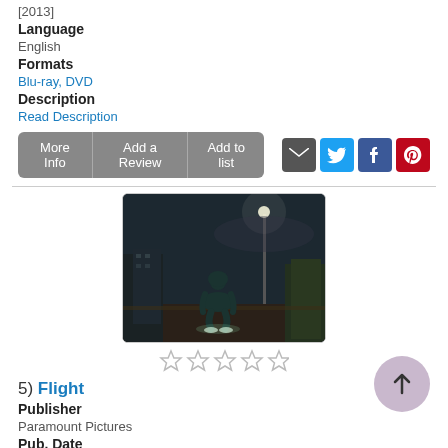[2013]
Language
English
Formats
Blu-ray, DVD
Description
Read Description
More Info | Add a Review | Add to list
[Figure (photo): A person crouching in a dark outdoor scene, dimly lit by a streetlight]
5) Flight
Publisher
Paramount Pictures
Pub. Date
[2013]
Language